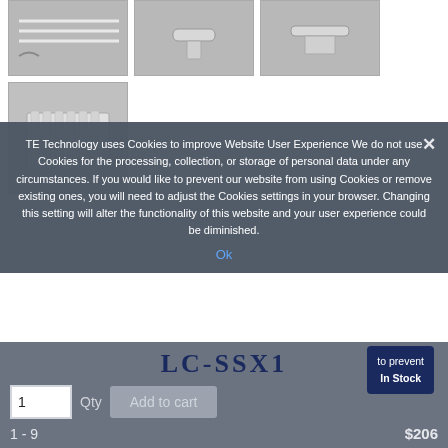[Figure (photo): Three small product thumbnail images of metal components (rods/tubes) arranged in a row at the top]
[Figure (photo): One larger product thumbnail image of a white plastic/metal heat sink component]
TE Technology uses Cookies to improve Website User Experience We do not use Cookies for the processing, collection, or storage of personal data under any circumstances. If you would like to prevent our website from using Cookies or remove existing ones, you will need to adjust the Cookies settings in your browser. Changing this setting will alter the functionality of this website and your user experience could be diminished.
LC-SSX1
[Figure (infographic): In Stock badge/tooltip in dark navy blue]
1  Qty
Add to cart
Ok
1 - 9
$206